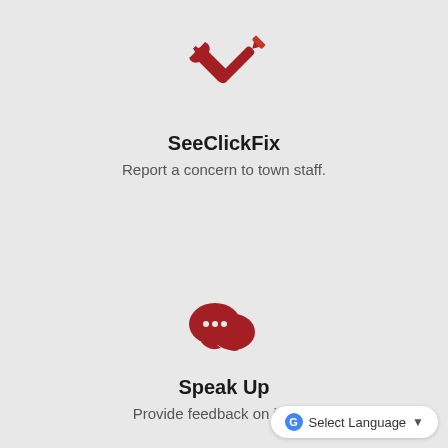[Figure (logo): Red crossed tools (screwdriver and wrench) icon for SeeClickFix]
SeeClickFix
Report a concern to town staff.
[Figure (logo): Red chat bubbles with ellipsis icon for Speak Up]
Speak Up
Provide feedback on import